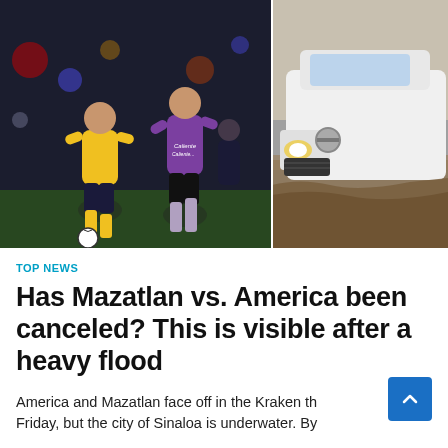[Figure (photo): Split image: left side shows two soccer players in action, one in yellow kit (Club America) and one in purple kit (Mazatlan FC) on a night match; right side shows a white Nissan SUV partially submerged in floodwater.]
TOP NEWS
Has Mazatlan vs. America been canceled? This is visible after a heavy flood
America and Mazatlan face off in the Kraken th Friday, but the city of Sinaloa is underwater. By